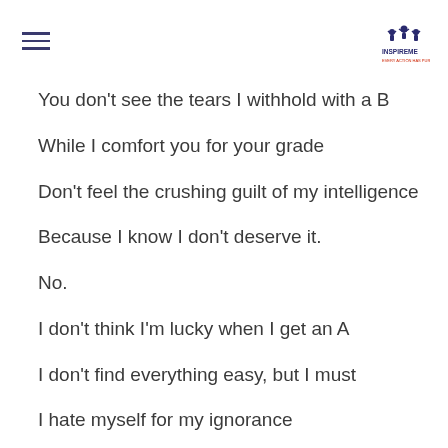[hamburger menu icon] [InspireMe logo]
You don't see the tears I withhold with a B
While I comfort you for your grade
Don't feel the crushing guilt of my intelligence
Because I know I don't deserve it.
No.
I don't think I'm lucky when I get an A
I don't find everything easy, but I must
I hate myself for my ignorance